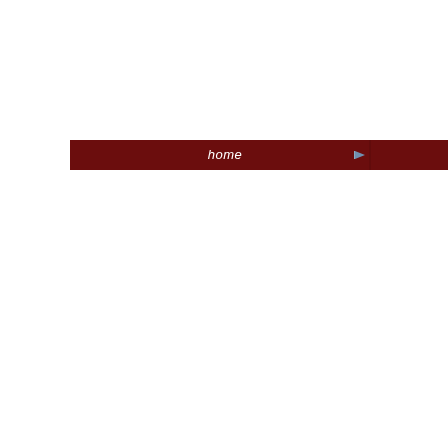[Figure (screenshot): A dark red/maroon horizontal navigation bar with white italic text labels: 'home', 'services', 'finishes', 'mu...' (partially visible), each separated by small blue/grey right-pointing triangular arrow icons.]